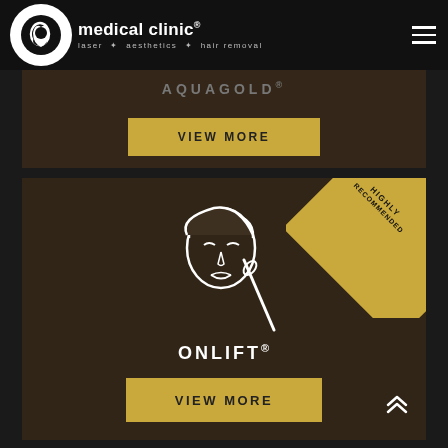[Figure (screenshot): Medical clinic website header with logo (black circle with white Q icon), 'medical clinic' text, tagline 'laser + aesthetics + hair removal', and hamburger menu icon]
[Figure (screenshot): AQUAGOLD(R) treatment card with dark brown background and golden VIEW MORE button, partially visible at top]
[Figure (screenshot): ONLIFT(R) treatment card with dark brown/olive background, white line-art face icon, 'HIGHLY RECOMMENDED' diagonal gold badge in top-right corner, ONLIFT(R) title text, golden VIEW MORE button, and double chevron up scroll arrow]
[Figure (screenshot): Partially visible third treatment card at bottom of page with golden diagonal badge showing partial text 'RE' and 'HI']